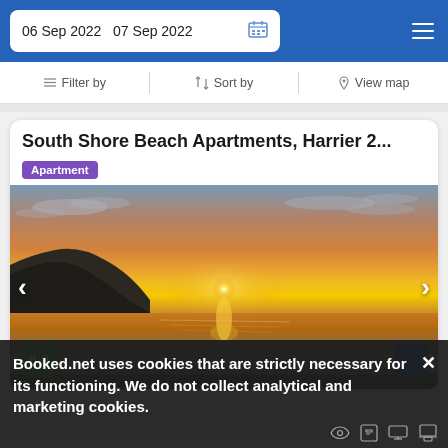06 Sep 2022   07 Sep 2022
Filter by   Sort by   View map
South Shore Beach Apartments, Harrier 2...
Apartment
[Figure (photo): Sunset over a beach with a rocky headland silhouette, warm orange and golden sky reflected on wet sand, navigation arrows on left and right, score badge showing 8.0 in green]
Booked.net uses cookies that are strictly necessary for its functioning. We do not collect analytical and marketing cookies.